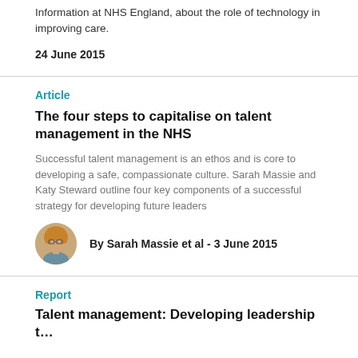Information at NHS England, about the role of technology in improving care.
24 June 2015
Article
The four steps to capitalise on talent management in the NHS
Successful talent management is an ethos and is core to developing a safe, compassionate culture. Sarah Massie and Katy Steward outline four key components of a successful strategy for developing future leaders
By Sarah Massie et al - 3 June 2015
Report
Talent management: Developing leadership t…